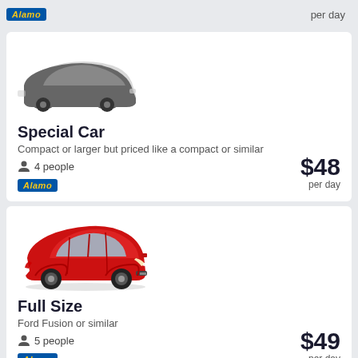Alamo | per day
[Figure (illustration): Two overlapping car silhouettes in grey/dark grey representing a compact car category]
Special Car
Compact or larger but priced like a compact or similar
4 people
$48 per day
[Figure (logo): Alamo rental car brand badge in blue with yellow italic text]
[Figure (photo): Red Ford Fusion sedan car photo]
Full Size
Ford Fusion or similar
5 people
$49 per day
[Figure (logo): Alamo rental car brand badge in blue with yellow italic text]
[Figure (photo): Blue car partially visible at bottom of page]